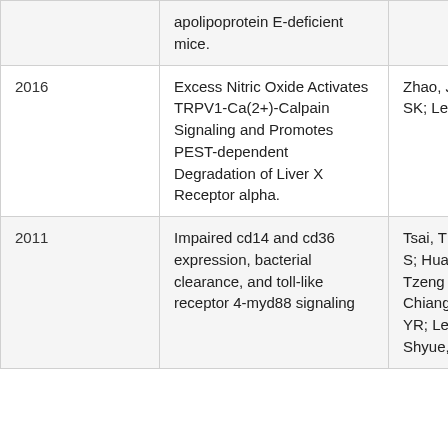| Year | Title | Authors |
| --- | --- | --- |
|  | apolipoprotein E-deficient mice. |  |
| 2016 | Excess Nitric Oxide Activates TRPV1-Ca(2+)-Calpain Signaling and Promotes PEST-dependent Degradation of Liver X Receptor alpha. | Zhao, JF; Shyue SK; Lee, TS |
| 2011 | Impaired cd14 and cd36 expression, bacterial clearance, and toll-like receptor 4-myd88 signaling | Tsai, TH; Chen, S; Huang, TY; Tzeng CF; Chiang, AS; Kou, YR; Lee, TS; Shyue, SK |